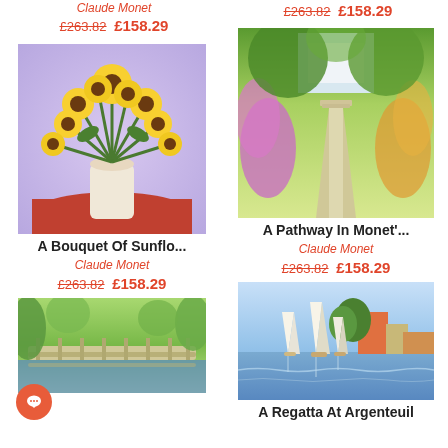Claude Monet — £263.82  £158.29 (top left, partial)
£263.82  £158.29 (top right, partial)
[Figure (photo): Painting of a bouquet of sunflowers in a white vase on a red tablecloth, impressionist style by Claude Monet]
A Bouquet Of Sunflo...
Claude Monet
£263.82  £158.29
[Figure (photo): Painting of a garden pathway with flowering plants and a house in the background, impressionist style by Claude Monet]
A Pathway In Monet'...
Claude Monet
£263.82  £158.29
[Figure (photo): Painting of sailboats on water with buildings in the background, impressionist style by Claude Monet — A Regatta At Argenteuil]
A Regatta At Argenteuil
[Figure (photo): Painting of a Japanese-style bridge over water with willow trees, impressionist style by Claude Monet (partial view)]